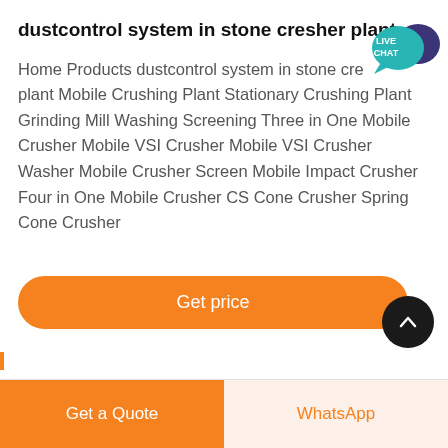dustcontrol system in stone cresher plant
Home Products dustcontrol system in stone cresher plant Mobile Crushing Plant Stationary Crushing Plant Grinding Mill Washing Screening Three in One Mobile Crusher Mobile VSI Crusher Mobile VSI Crusher Washer Mobile Crusher Screen Mobile Impact Crusher Four in One Mobile Crusher CS Cone Crusher Spring Cone Crusher
[Figure (other): Live Chat speech bubble icon in teal/purple colors]
Get price
Get a Quote
WhatsApp